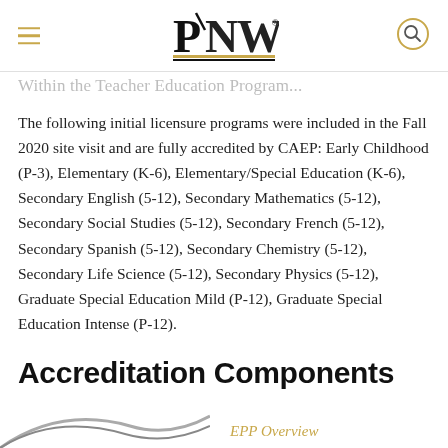PNW (Purdue University Northwest logo with hamburger menu and search icon)
Within the Teacher Education Program...
The following initial licensure programs were included in the Fall 2020 site visit and are fully accredited by CAEP: Early Childhood (P-3), Elementary (K-6), Elementary/Special Education (K-6), Secondary English (5-12), Secondary Mathematics (5-12), Secondary Social Studies (5-12), Secondary French (5-12), Secondary Spanish (5-12), Secondary Chemistry (5-12), Secondary Life Science (5-12), Secondary Physics (5-12), Graduate Special Education Mild (P-12), Graduate Special Education Intense (P-12).
Accreditation Components
EPP Overview